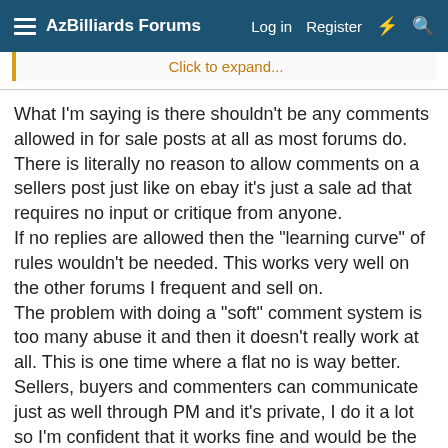AzBilliards Forums  Log in  Register
Click to expand...
What I'm saying is there shouldn't be any comments allowed in for sale posts at all as most forums do. There is literally no reason to allow comments on a sellers post just like on ebay it's just a sale ad that requires no input or critique from anyone.
If no replies are allowed then the "learning curve" of rules wouldn't be needed. This works very well on the other forums I frequent and sell on.
The problem with doing a "soft" comment system is too many abuse it and then it doesn't really work at all. This is one time where a flat no is way better.
Sellers, buyers and commenters can communicate just as well through PM and it's private, I do it a lot so I'm confident that it works fine and would be the best standard.
The bottom line is no one needs to participate in a sellers ad it just seems unprofessional to allow it and as a buyer I would never do it.